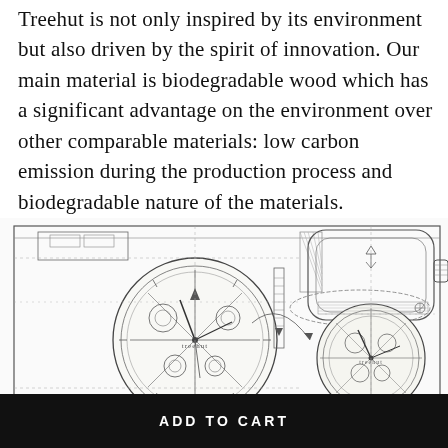Treehut is not only inspired by its environment but also driven by the spirit of innovation. Our main material is biodegradable wood which has a significant advantage on the environment over other comparable materials: low carbon emission during the production process and biodegradable nature of the materials.
[Figure (engineering-diagram): Technical/engineering cross-section schematic drawing of a wooden watch mechanism showing side and top/front views with gear trains, crown, case, and internal movement components. 'Treehut' brand name visible on the dial. Blueprint-style line art.]
ADD TO CART